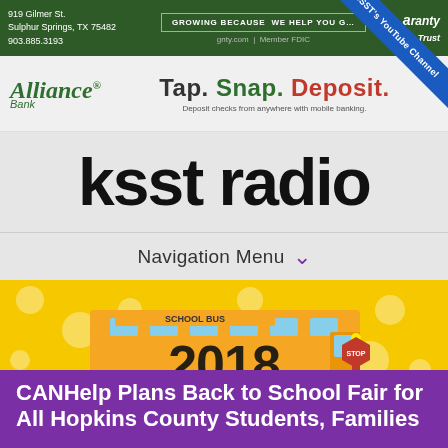919 Gilmer St.
Sulphur Springs, TX 75482
903.885.3193
GROWING BECAUSE WE HELP YOU G...
gnty.com | Member FDIC
[Figure (infographic): Blue diagonal ribbon banner reading KSST's YouTube Channel]
[Figure (logo): Alliance Bank logo with tagline Tap. Snap. Deposit.]
[Figure (logo): KSST radio logo in large bold black text]
Navigation Menu
[Figure (photo): 2018 Back to School themed image with yellow school bus on polka dot background]
CANHelp Plans Back to School Fair for All Hopkins County Students, Families